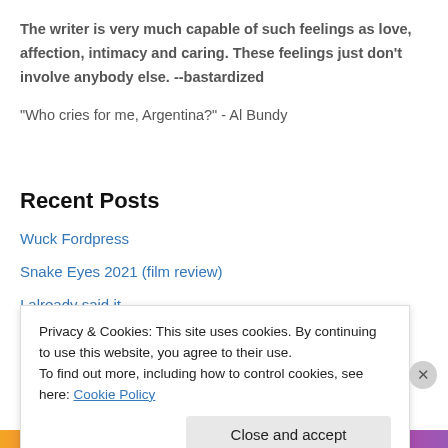The writer is very much capable of such feelings as love, affection, intimacy and caring. These feelings just don't involve anybody else. --bastardized
"Who cries for me, Argentina?" - Al Bundy
Recent Posts
Wuck Fordpress
Snake Eyes 2021 (film review)
I already said it
You won't know until you die...
Privacy & Cookies: This site uses cookies. By continuing to use this website, you agree to their use.
To find out more, including how to control cookies, see here: Cookie Policy